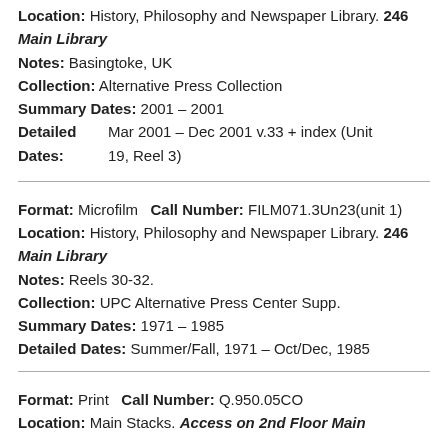Location: History, Philosophy and Newspaper Library. 246 Main Library
Notes: Basingtoke, UK
Collection: Alternative Press Collection
Summary Dates: 2001 – 2001
Detailed Dates: Mar 2001 – Dec 2001  v.33 + index (Unit 19, Reel 3)
Format: Microfilm   Call Number: FILM071.3Un23(unit 1)
Location: History, Philosophy and Newspaper Library. 246 Main Library
Notes: Reels 30-32.
Collection: UPC Alternative Press Center Supp.
Summary Dates: 1971 – 1985
Detailed Dates: Summer/Fall, 1971 – Oct/Dec, 1985
Format: Print   Call Number: Q.950.05CO
Location: Main Stacks. Access on 2nd Floor Main